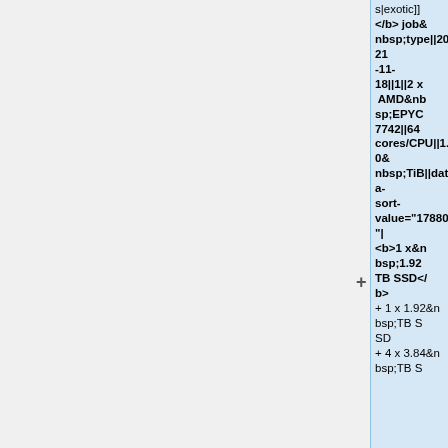s|exotic]] </b>&nbsp;job&nbsp;type||2021-11-18||1||2&nbsp;x&nbsp;AMD&nbsp;EPYC&nbsp;7742||64&nbsp;cores/CPU||1.0&nbsp;TiB||data-sort-value="17880"|<b>1&nbsp;x&nbsp;1.92&nbsp;TB&nbsp;SSD</b> +&nbsp;1&nbsp;x&nbsp;1.92&nbsp;TB&nbsp;SSD +&nbsp;4&nbsp;x&nbsp;3.84&nbsp;TB&nbsp;S